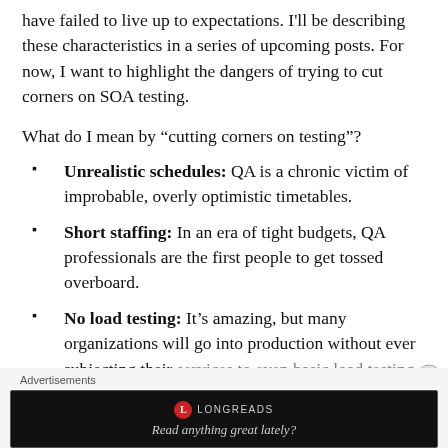have failed to live up to expectations. I'll be describing these characteristics in a series of upcoming posts. For now, I want to highlight the dangers of trying to cut corners on SOA testing.
What do I mean by “cutting corners on testing”?
Unrealistic schedules: QA is a chronic victim of improbable, overly optimistic timetables.
Short staffing: In an era of tight budgets, QA professionals are the first people to get tossed overboard.
No load testing: It’s amazing, but many organizations will go into production without ever subjecting their services to even basic load testing.
[Figure (other): Longreads advertisement banner with logo and tagline 'Read anything great lately?']